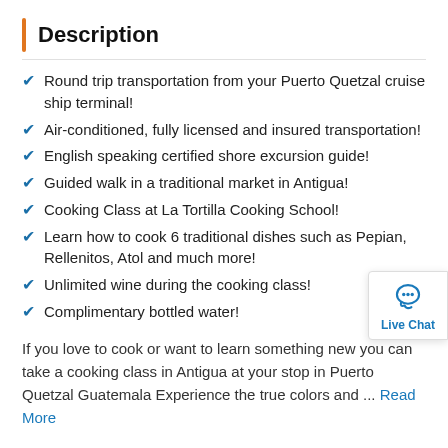Description
Round trip transportation from your Puerto Quetzal cruise ship terminal!
Air-conditioned, fully licensed and insured transportation!
English speaking certified shore excursion guide!
Guided walk in a traditional market in Antigua!
Cooking Class at La Tortilla Cooking School!
Learn how to cook 6 traditional dishes such as Pepian, Rellenitos, Atol and much more!
Unlimited wine during the cooking class!
Complimentary bottled water!
If you love to cook or want to learn something new you can take a cooking class in Antigua at your stop in Puerto Quetzal Guatemala Experience the true colors and ... Read More